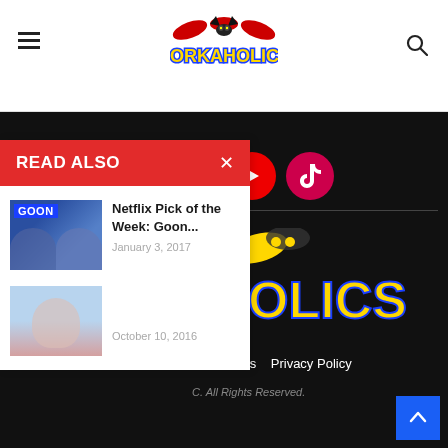Dorkaholics
READ ALSO
Netflix Pick of the Week: Goon...
January 3, 2017
October 10, 2016
Contact Us   Privacy Policy
C. All Rights Reserved.